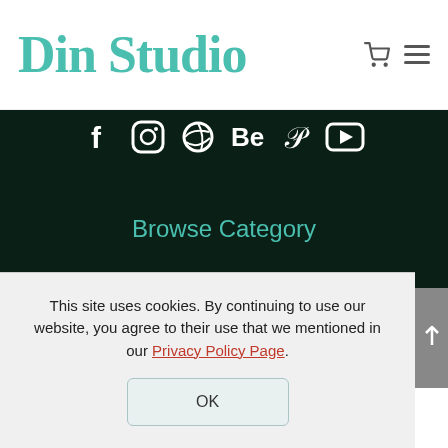Din Studio
[Figure (illustration): Social media icons row: Facebook, Instagram, Dribbble, Behance, Pinterest, YouTube — white icons on dark green background]
Browse Category
Bundles
Fonts
This site uses cookies. By continuing to use our website, you agree to their use that we mentioned in our Privacy Policy Page.
OK